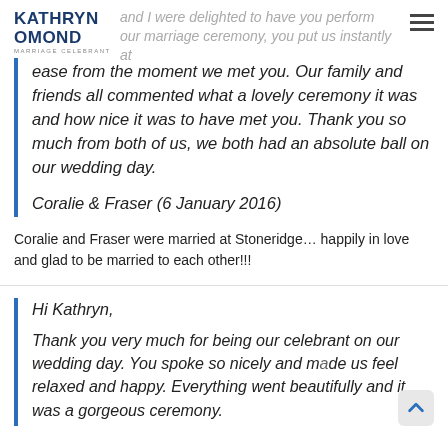Kathryn Omond
MARRIAGE CELEBRANT
and I were delighted to have you perform our marriage ceremony, you put us instantly at ease from the moment we met you. Our family and friends all commented what a lovely ceremony it was and how nice it was to have met you. Thank you so much from both of us, we both had an absolute ball on our wedding day.
Coralie & Fraser (6 January 2016)
Coralie and Fraser were married at Stoneridge… happily in love and glad to be married to each other!!!
Hi Kathryn,
Thank you very much for being our celebrant on our wedding day. You spoke so nicely and made us feel relaxed and happy. Everything went beautifully and it was a gorgeous ceremony.